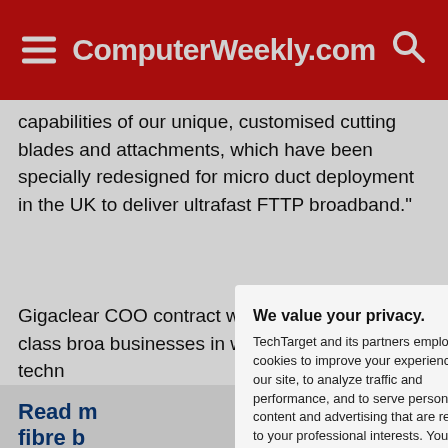ComputerWeekly.com
capabilities of our unique, customised cutting blades and attachments, which have been specially redesigned for micro duct deployment in the UK to deliver ultrafast FTTP broadband."
Gigaclear COO ... contract will ena... world-class broa... businesses in w... installation techr...
Read m... fibre b...
London's ... Hyperopt...
We value your privacy. TechTarget and its partners employ cookies to improve your experience on our site, to analyze traffic and performance, and to serve personalized content and advertising that are relevant to your professional interests. You can manage your settings at any time. Please view our Privacy Policy for more information